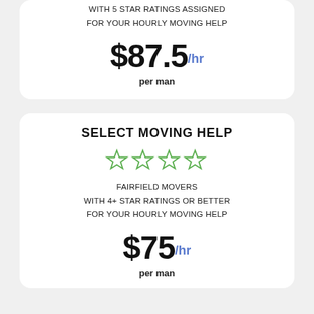WITH 5 STAR RATINGS ASSIGNED
FOR YOUR HOURLY MOVING HELP
$87.5/hr
per man
SELECT MOVING HELP
[Figure (illustration): Four green outline star icons in a row]
FAIRFIELD MOVERS
WITH 4+ STAR RATINGS OR BETTER
FOR YOUR HOURLY MOVING HELP
$75/hr
per man